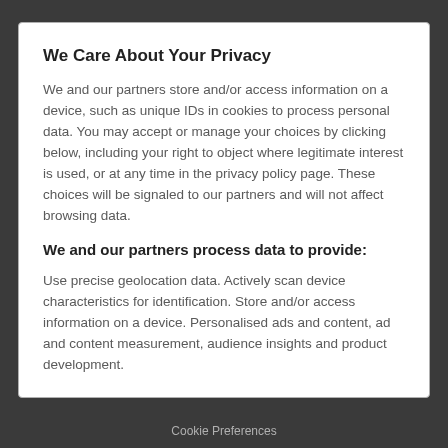We Care About Your Privacy
We and our partners store and/or access information on a device, such as unique IDs in cookies to process personal data. You may accept or manage your choices by clicking below, including your right to object where legitimate interest is used, or at any time in the privacy policy page. These choices will be signaled to our partners and will not affect browsing data.
We and our partners process data to provide:
Use precise geolocation data. Actively scan device characteristics for identification. Store and/or access information on a device. Personalised ads and content, ad and content measurement, audience insights and product development.
Cookie Preferences